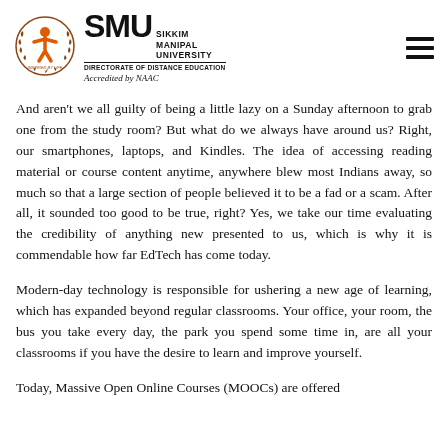SMU SIKKIM MANIPAL UNIVERSITY DIRECTORATE OF DISTANCE EDUCATION Accredited by NAAC
And aren't we all guilty of being a little lazy on a Sunday afternoon to grab one from the study room? But what do we always have around us? Right, our smartphones, laptops, and Kindles. The idea of accessing reading material or course content anytime, anywhere blew most Indians away, so much so that a large section of people believed it to be a fad or a scam. After all, it sounded too good to be true, right? Yes, we take our time evaluating the credibility of anything new presented to us, which is why it is commendable how far EdTech has come today.
Modern-day technology is responsible for ushering a new age of learning, which has expanded beyond regular classrooms. Your office, your room, the bus you take every day, the park you spend some time in, are all your classrooms if you have the desire to learn and improve yourself.
Today, Massive Open Online Courses (MOOCs) are offered